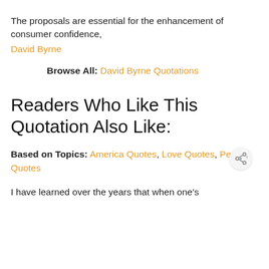The proposals are essential for the enhancement of consumer confidence,
David Byrne
Browse All: David Byrne Quotations
Readers Who Like This Quotation Also Like:
Based on Topics: America Quotes, Love Quotes, People Quotes
I have learned over the years that when one's